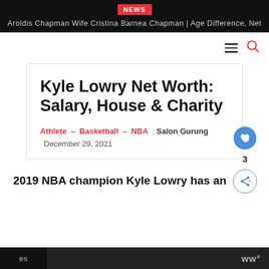NEWS | Aroldis Chapman Wife Cristina Barnea Chapman | Age Difference, Net
Kyle Lowry Net Worth: Salary, House & Charity
Athlete – Basketball – NBA   Salon Gurung   December 29, 2021
2019 NBA champion Kyle Lowry has an es